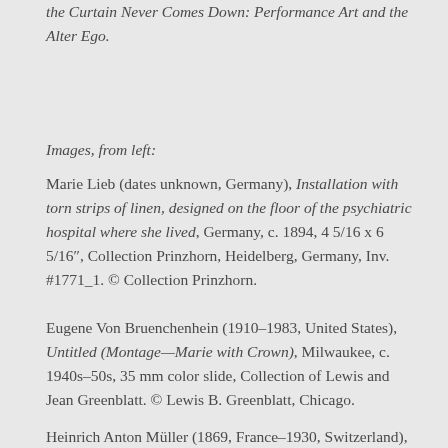the Curtain Never Comes Down: Performance Art and the Alter Ego.
Images, from left:
Marie Lieb (dates unknown, Germany), Installation with torn strips of linen, designed on the floor of the psychiatric hospital where she lived, Germany, c. 1894, 4 5/16 x 6 5/16″, Collection Prinzhorn, Heidelberg, Germany, Inv. #1771_1. © Collection Prinzhorn.
Eugene Von Bruenchenhein (1910–1983, United States), Untitled (Montage—Marie with Crown), Milwaukee, c. 1940s–50s, 35 mm color slide, Collection of Lewis and Jean Greenblatt. © Lewis B. Greenblatt, Chicago.
Heinrich Anton Müller (1869, France–1930, Switzerland),